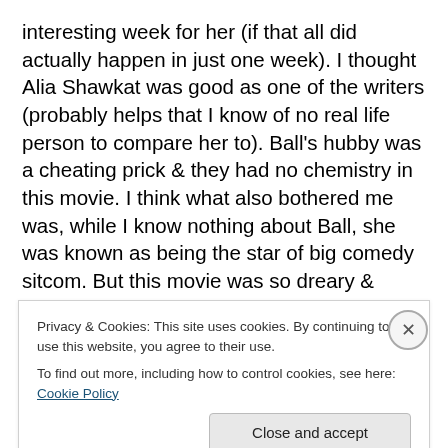interesting week for her (if that all did actually happen in just one week). I thought Alia Shawkat was good as one of the writers (probably helps that I know of no real life person to compare her to). Ball's hubby was a cheating prick & they had no chemistry in this movie. I think what also bothered me was, while I know nothing about Ball, she was known as being the star of big comedy sitcom. But this movie was so dreary & dramatic & devoid of any humor. Is that what Ball was like in real life? No clue. This movie makes her borderline unlikeable. It's also one of those movies where I finished it feeling like I didn't know
Privacy & Cookies: This site uses cookies. By continuing to use this website, you agree to their use.
To find out more, including how to control cookies, see here: Cookie Policy
Close and accept